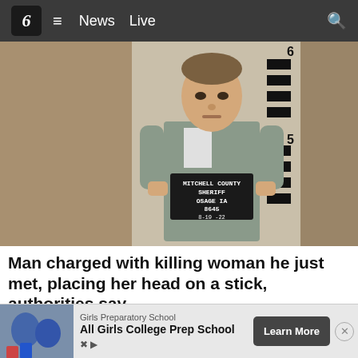6  ≡  News  Live
[Figure (photo): Mugshot of a young white male in a gray striped jail uniform, holding a booking sign reading: MITCHELL COUNTY SHERIFF OSAGE IA 8645 8-19-22. Behind him is a beige wall with a height measurement ruler showing marks at 5 and 6 feet.]
Man charged with killing woman he just met, placing her head on a stick, authorities say
A man in Iowa is facing charges in connection to the disappearance and death of a woman he had just met,  poli…
WBRC
[Figure (photo): Advertisement banner: Girls Preparatory School — All Girls College Prep School — Learn More button]
Girls Preparatory School
All Girls College Prep School
Learn More